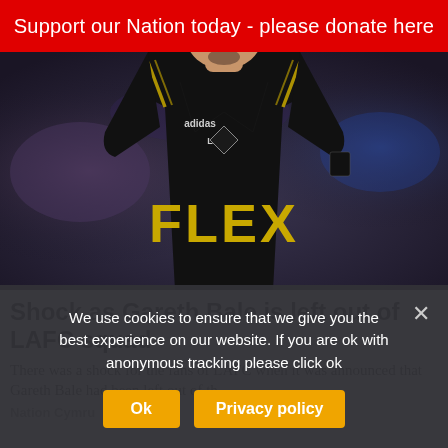Support our Nation today - please donate here
[Figure (photo): Soccer player wearing a black LAFC jersey with FLEX sponsor and adidas logo, shown from chest down, blurred stadium background]
Shock as Gareth Bale is left out of LAFC squad
There was a shock for the fans of LAFC when it was announced that Gareth Bale had been left out of th...
Nation Cymru
We use cookies to ensure that we give you the best experience on our website. If you are ok with anonymous tracking please click ok